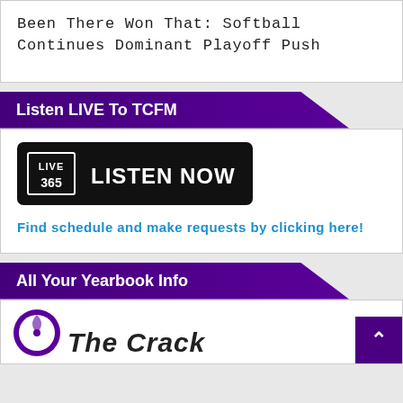Been There Won That: Softball Continues Dominant Playoff Push
Listen LIVE To TCFM
[Figure (screenshot): Live365 'Listen Now' button — black rounded rectangle with Live365 logo on left and white bold text 'LISTEN NOW']
Find schedule and make requests by clicking here!
All Your Yearbook Info
[Figure (logo): Partial view of a circular logo (purple/white) and italic bold text beginning with 'The Crack...']